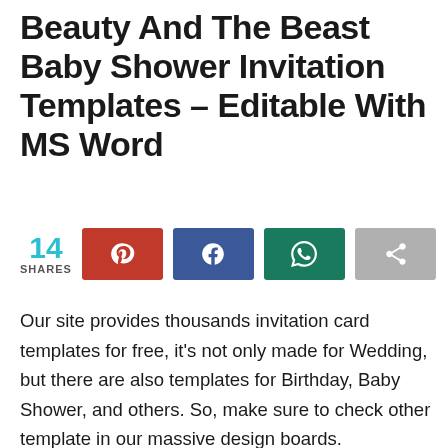Beauty And The Beast Baby Shower Invitation Templates – Editable With MS Word
[Figure (infographic): Social share bar with 14 shares count and four share buttons: Pinterest (red), Facebook (blue), WhatsApp (teal), and a generic share button (gray)]
Our site provides thousands invitation card templates for free, it's not only made for Wedding, but there are also templates for Birthday, Baby Shower, and others. So, make sure to check other template in our massive design boards.
[Figure (other): Advertisement placeholder box with a beige/cream background, and a collapse/chevron button on the left side]
[Figure (photo): Advertisement strip at the bottom showing four images of women's shoes/heels in different styles and colors, with an NNSTREE brand label on the right]